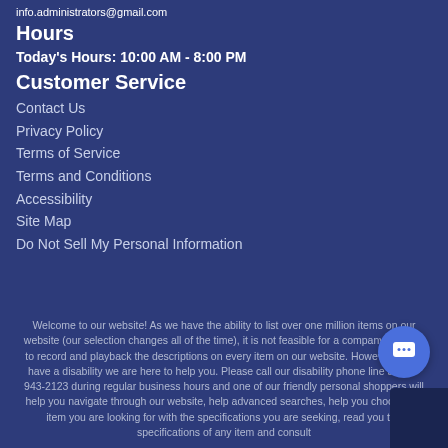info.administrators@gmail.com
Hours
Today's Hours: 10:00 AM - 8:00 PM
Customer Service
Contact Us
Privacy Policy
Terms of Service
Terms and Conditions
Accessibility
Site Map
Do Not Sell My Personal Information
Welcome to our website! As we have the ability to list over one million items on our website (our selection changes all of the time), it is not feasible for a company our size to record and playback the descriptions on every item on our website. However, if you have a disability we are here to help you. Please call our disability phone line at 562-943-2123 during regular business hours and one of our friendly personal shoppers will help you navigate through our website, help advanced searches, help you choose the item you are looking for with the specifications you are seeking, read you the specifications of any item and consult